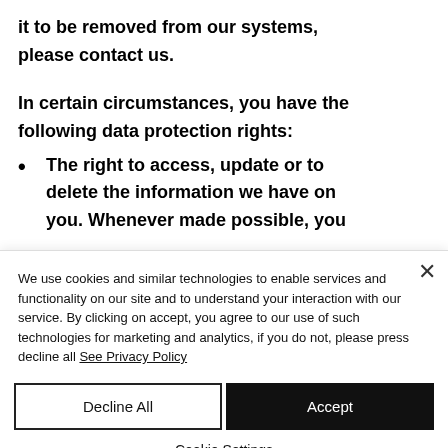it to be removed from our systems, please contact us.
In certain circumstances, you have the following data protection rights:
The right to access, update or to delete the information we have on you. Whenever made possible, you
We use cookies and similar technologies to enable services and functionality on our site and to understand your interaction with our service. By clicking on accept, you agree to our use of such technologies for marketing and analytics, if you do not, please press decline all See Privacy Policy
Decline All
Accept
Cookie Settings